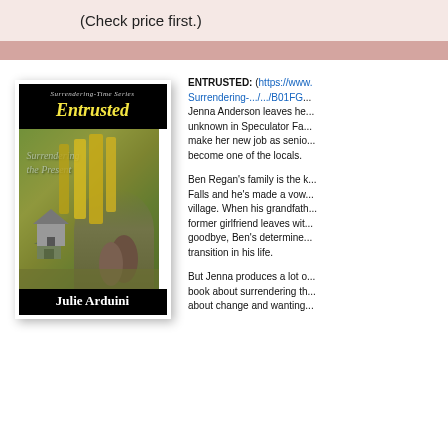(Check price first.)
[Figure (illustration): Book cover for 'Entrusted' by Julie Arduini, part of the Surrendering-Time Series. Cover shows a couple (man and woman) in an outdoor autumn mountain scene with yellow trees, a barn, and text overlay 'Surrendering the Present'. Title in yellow italic script on black background. Author name Julie Arduini at bottom.]
ENTRUSTED: (https://www. Surrendering-.../.../B01FG... Jenna Anderson leaves her unknown in Speculator Fa... make her new job as senio... become one of the locals.
Ben Regan's family is the k... Falls and he's made a vow... village. When his grandfath... former girlfriend leaves wit... goodbye, Ben's determine... transition in his life.
But Jenna produces a lot o... book about surrendering th... about change and wanting...